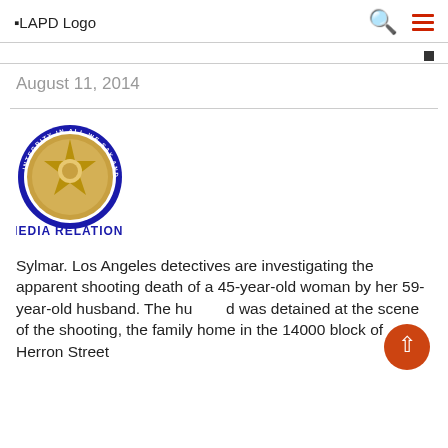LAPD Logo
August 11, 2014
[Figure (logo): LAPD Media Relations badge/seal — circular blue-bordered seal with text 'INTEGRITY IN ALL WE SAY AND DO' around the rim, with a gold badge in the center. Below reads 'MEDIA RELATIONS' in bold dark blue text.]
Sylmar.  Los Angeles detectives are investigating the apparent shooting death of a 45-year-old woman by her 59-year-old husband.  The husband was detained at the scene of the shooting, the family home in the 14000 block of Herron Street